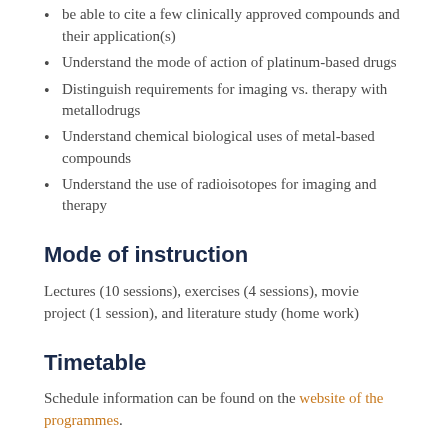be able to cite a few clinically approved compounds and their application(s)
Understand the mode of action of platinum-based drugs
Distinguish requirements for imaging vs. therapy with metallodrugs
Understand chemical biological uses of metal-based compounds
Understand the use of radioisotopes for imaging and therapy
Mode of instruction
Lectures (10 sessions), exercises (4 sessions), movie project (1 session), and literature study (home work)
Timetable
Schedule information can be found on the website of the programmes.